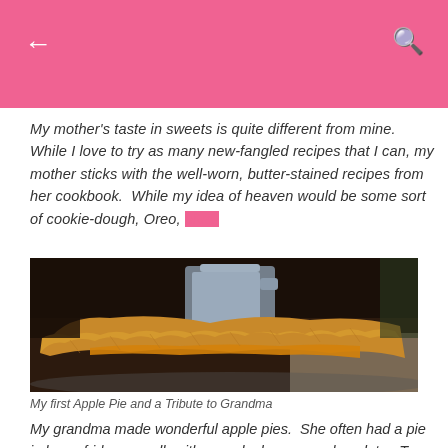← [back] [search icon]
My mother's taste in sweets is quite different from mine.  While I love to try as many new-fangled recipes that I can, my mother sticks with the well-worn, butter-stained recipes from her cookbook.  While my idea of heaven would be some sort of cookie-dough, Oreo, ultra-
[Figure (photo): Close-up photograph of a slice of apple pie with a flaky golden-brown crust, showing the apple filling inside, with a metal pitcher in the background on a lace tablecloth.]
My first Apple Pie and a Tribute to Grandma
My grandma made wonderful apple pies.  She often had a pie in her refridge, usually either apple, lemon, or chocolate.  To her, making a